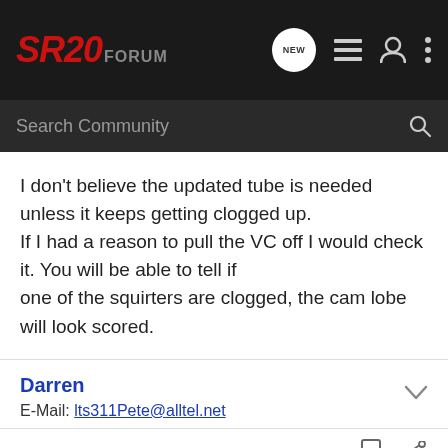SR20 FORUM
I don't believe the updated tube is needed unless it keeps getting clogged up.
If I had a reason to pull the VC off I would check it. You will be able to tell if
one of the squirters are clogged, the cam lobe will look scored.
Darren
E-Mail: lts311Pete@alltel.net
97SE-R C2 · Undecided
Joined Oct 17, 2002 · 4,132 Posts